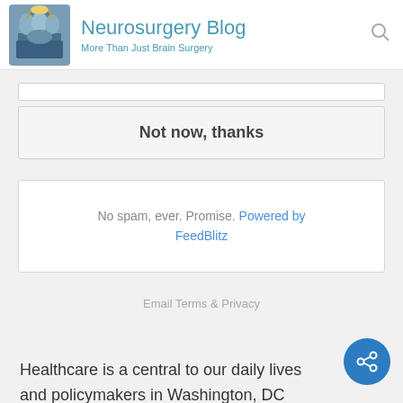Neurosurgery Blog — More Than Just Brain Surgery
[Figure (screenshot): Button area with 'Not now, thanks' button]
No spam, ever. Promise. Powered by FeedBlitz
Email Terms & Privacy
Healthcare is a central to our daily lives and policymakers in Washington, DC have an